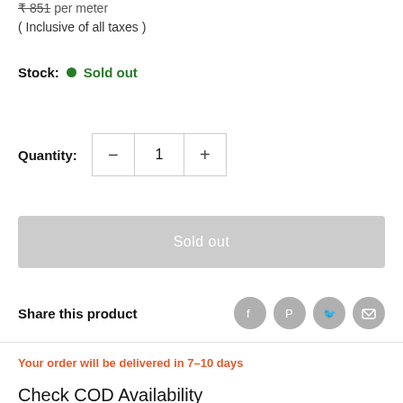₹ 851 per meter
( Inclusive of all taxes )
Stock: Sold out
Quantity: 1
Sold out
Share this product
Your order will be delivered in 7–10 days
Check COD Availability